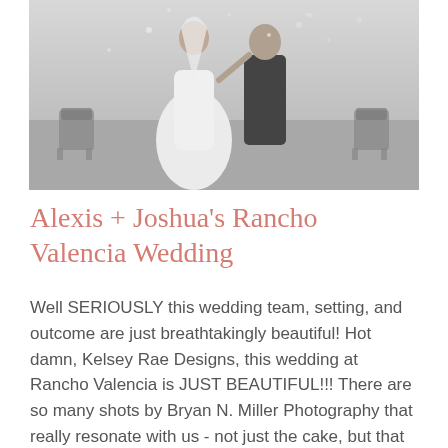[Figure (photo): Black and white wedding photo of a bride in white dress and groom in dark suit, holding hands and raising them, with confetti/petals falling, chairs visible in background]
Alexis + Joshua's Rancho Valencia Wedding
Well SERIOUSLY this wedding team, setting, and outcome are just breathtakingly beautiful! Hot damn, Kelsey Rae Designs, this wedding at Rancho Valencia is JUST BEAUTIFUL!!! There are so many shots by Bryan N. Miller Photography that really resonate with us - not just the cake, but that gorgeous black & white shot of Alexis & [...]